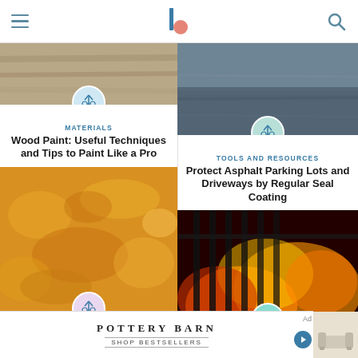Navigation header with hamburger menu, logo, and search icon
[Figure (screenshot): Article card image: wooden painted surface background]
MATERIALS
Wood Paint: Useful Techniques and Tips to Paint Like a Pro
[Figure (photo): Orange/yellow rough masonry texture surface]
MASONRY
[Figure (photo): Gray asphalt/driveway surface article card image]
TOOLS AND RESOURCES
Protect Asphalt Parking Lots and Driveways by Regular Seal Coating
[Figure (photo): Fire on staircase railing scene article card image]
LIABILITY
[Figure (advertisement): Pottery Barn advertisement - Shop Bestsellers with sofa image]